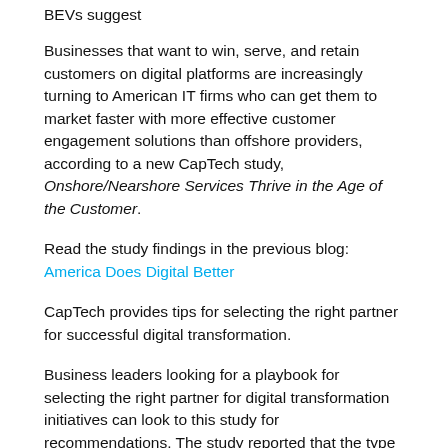BEVs suggest
Businesses that want to win, serve, and retain customers on digital platforms are increasingly turning to American IT firms who can get them to market faster with more effective customer engagement solutions than offshore providers, according to a new CapTech study, Onshore/Nearshore Services Thrive in the Age of the Customer.
Read the study findings in the previous blog: America Does Digital Better
CapTech provides tips for selecting the right partner for successful digital transformation.
Business leaders looking for a playbook for selecting the right partner for digital transformation initiatives can look to this study for recommendations. The study reported that the type of provider selected can improve prospects for success, but how a business engages with that provider has the ability to make or break digital transformation projects. In order to set up a project for success, it is critical to validate key capabilities in potential partners and manage directly to those capabilities. When you are evaluating a provider, it is recommended to focus on three key elements: